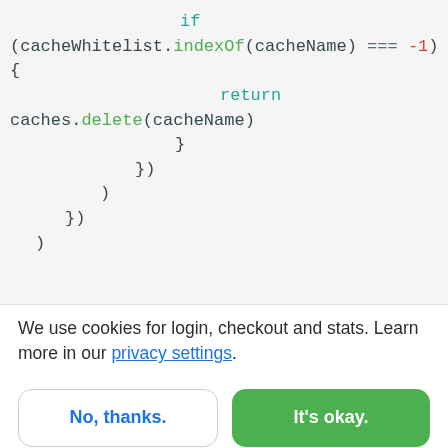[Figure (screenshot): Code snippet showing JavaScript with if condition checking cacheWhitelist.indexOf(cacheName) === -1, returning caches.delete(cacheName), followed by closing braces }), ), }), )]
We use cookies for login, checkout and stats. Learn more in our privacy settings.
No, thanks. | It's okay.